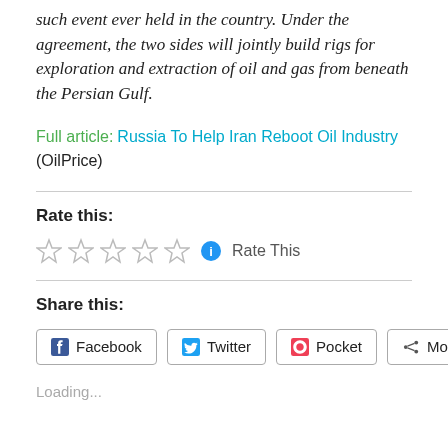such event ever held in the country. Under the agreement, the two sides will jointly build rigs for exploration and extraction of oil and gas from beneath the Persian Gulf.
Full article: Russia To Help Iran Reboot Oil Industry (OilPrice)
Rate this:
☆☆☆☆☆ ℹ Rate This
Share this:
Facebook  Twitter  Pocket  More
Loading...